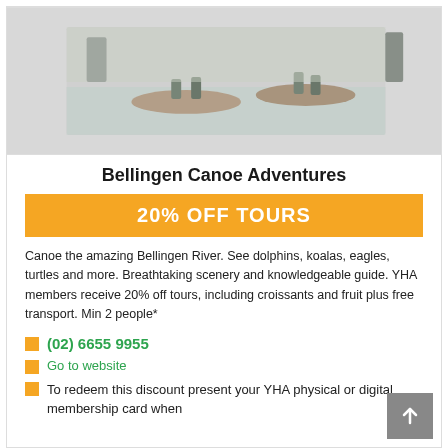[Figure (photo): Photo of canoe tour on Bellingen River, showing people in canoes on water]
Bellingen Canoe Adventures
20% OFF TOURS
Canoe the amazing Bellingen River. See dolphins, koalas, eagles, turtles and more. Breathtaking scenery and knowledgeable guide. YHA members receive 20% off tours, including croissants and fruit plus free transport. Min 2 people*
(02) 6655 9955
Go to website
To redeem this discount present your YHA physical or digital membership card when